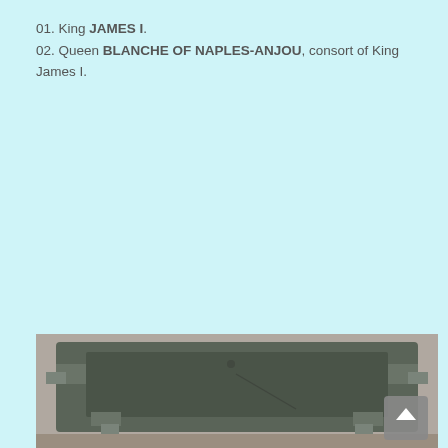01. King JAMES I.
02. Queen BLANCHE OF NAPLES-ANJOU, consort of King James I.
[Figure (photo): Photograph of a stone tomb or sarcophagus lid, viewed from above. The stone is dark grey/green with carved step-like edges and appears to be a medieval royal tomb effigy slab. The background is light grey.]